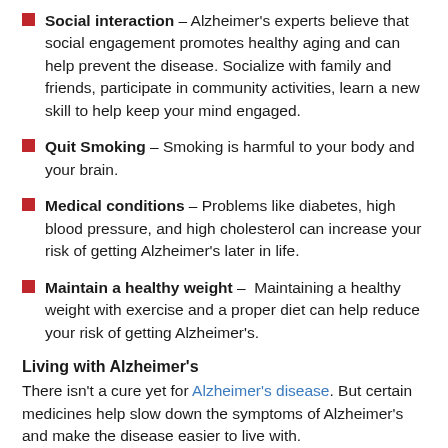Social interaction – Alzheimer's experts believe that social engagement promotes healthy aging and can help prevent the disease. Socialize with family and friends, participate in community activities, learn a new skill to help keep your mind engaged.
Quit Smoking – Smoking is harmful to your body and your brain.
Medical conditions – Problems like diabetes, high blood pressure, and high cholesterol can increase your risk of getting Alzheimer's later in life.
Maintain a healthy weight – Maintaining a healthy weight with exercise and a proper diet can help reduce your risk of getting Alzheimer's.
Living with Alzheimer's
There isn't a cure yet for Alzheimer's disease. But certain medicines help slow down the symptoms of Alzheimer's and make the disease easier to live with.